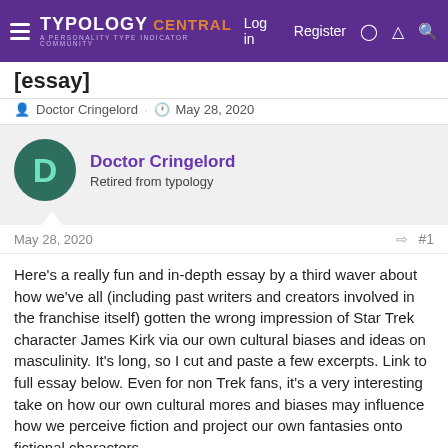Typology Central — A Personality Type Indicator Community — Log in | Register
[essay]
Doctor Cringelord · May 28, 2020
Doctor Cringelord
Retired from typology
May 28, 2020  #1
Here's a really fun and in-depth essay by a third waver about how we've all (including past writers and creators involved in the franchise itself) gotten the wrong impression of Star Trek character James Kirk via our own cultural biases and ideas on masculinity. It's long, so I cut and paste a few excerpts. Link to full essay below. Even for non Trek fans, it's a very interesting take on how our own cultural mores and biases may influence how we perceive fiction and project our own fantasies onto fictional characters.
Itâ€™s not five seconds before heâ€™s on â€˜Kirk and the green